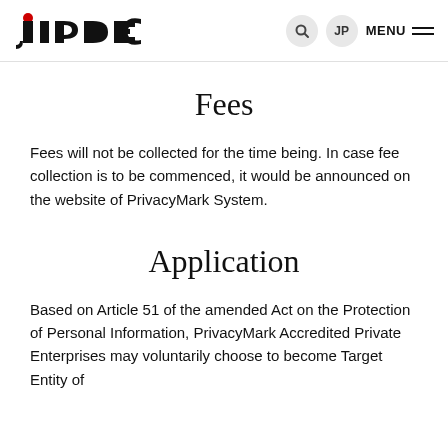JIPDEC [logo] | search | JP | MENU
Fees
Fees will not be collected for the time being. In case fee collection is to be commenced, it would be announced on the website of PrivacyMark System.
Application
Based on Article 51 of the amended Act on the Protection of Personal Information, PrivacyMark Accredited Private Enterprises may voluntarily choose to become Target Entity of